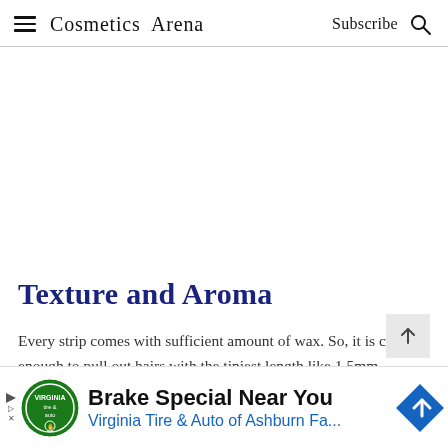Cosmetics Arena  Subscribe
Texture and Aroma
Every strip comes with sufficient amount of wax. So, it is capable enough to pull out hairs with the tiniest length like 1.5mm.
[Figure (other): Advertisement banner: Brake Special Near You – Virginia Tire & Auto of Ashburn Fa... with logo and blue arrow icon]